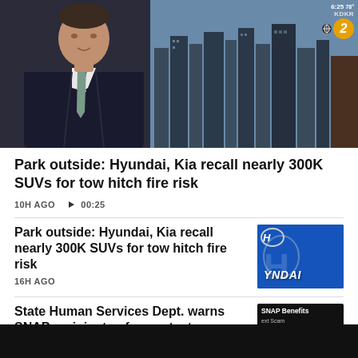[Figure (screenshot): News broadcast screenshot showing a male news anchor in a dark suit with a teal tie, city skyline in background, CBS2 KDKA logo bug in top right showing 6:25]
Park outside: Hyundai, Kia recall nearly 300K SUVs for tow hitch fire risk
10H AGO  ▶ 00:25
Park outside: Hyundai, Kia recall nearly 300K SUVs for tow hitch fire risk
16H AGO
State Human Services Dept. warns SNAP recipients of scam texts
AUG 19  ▶ 00:42